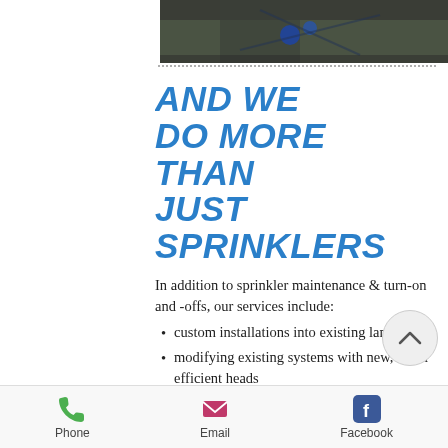[Figure (photo): Top portion of a sprinkler or irrigation system installation photo, showing dark soil and blue irrigation components]
AND WE DO MORE THAN JUST SPRINKLERS
In addition to sprinkler maintenance & turn-on and -offs, our services include:
custom installations into existing landscapes
modifying existing systems with new, water efficient heads
replacing old clock timers with easy-to-use, water-saving
Phone   Email   Facebook